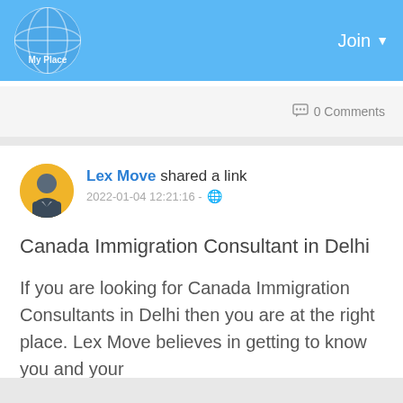My Place — Join
0 Comments
Lex Move shared a link
2022-01-04 12:21:16 - 🌐
Canada Immigration Consultant in Delhi
If you are looking for Canada Immigration Consultants in Delhi then you are at the right place. Lex Move believes in getting to know you and your
Read more